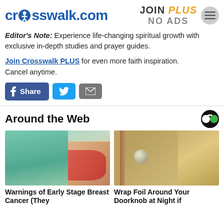crosswalk.com | JOIN PLUS NO ADS
Editor's Note: Experience life-changing spiritual growth with exclusive in-depth studies and prayer guides.
Join Crosswalk PLUS for even more faith inspiration. Cancel anytime.
[Figure (screenshot): Share buttons: Facebook Share, Twitter, Email]
Around the Web
[Figure (photo): Photo of a woman in teal shirt touching chest - Warnings of Early Stage Breast Cancer (They...]
[Figure (photo): Photo of a doorknob wrapped in foil - Wrap Foil Around Your Doorknob at Night if...]